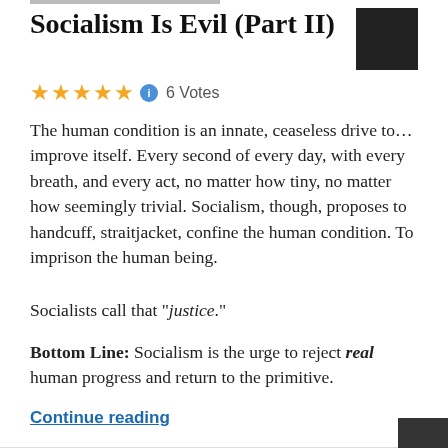Socialism Is Evil (Part II)
★★★★★ ℹ 6 Votes
The human condition is an innate, ceaseless drive to… improve itself. Every second of every day, with every breath, and every act, no matter how tiny, no matter how seemingly trivial. Socialism, though, proposes to handcuff, straitjacket, confine the human condition. To imprison the human being.
Socialists call that "justice."
Bottom Line: Socialism is the urge to reject real human progress and return to the primitive.
Continue reading